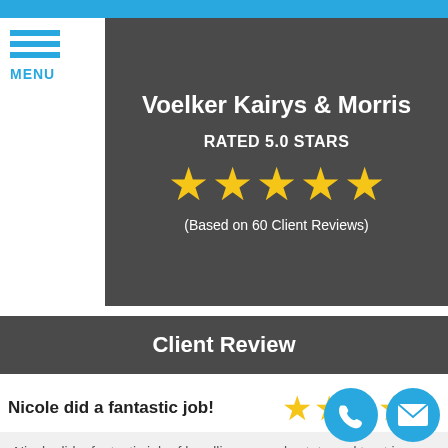MENU
Voelker Kairys & Morris
RATED 5.0 STARS
[Figure (other): Five gold stars rating display]
(Based on 60 Client Reviews)
Client Review
Nicole did a fantastic job!
[Figure (other): Five gold stars small rating display for individual review]
Nicole did a fantastic job of handling several estate and trust issues for my clients. I would highly recommend her to any of my clients that need a family law attorney.... read more